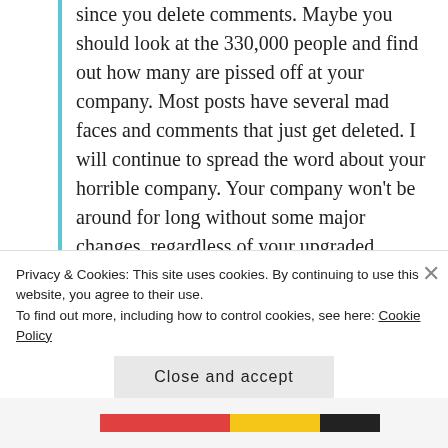since you delete comments. Maybe you should look at the 330,000 people and find out how many are pissed off at your company. Most posts have several mad faces and comments that just get deleted. I will continue to spread the word about your horrible company. Your company won't be around for long without some major changes, regardless of your upgraded shipping system.
★ Like
REPLY
Jessica
JULY 18, 2017 AT 7:43 PM
Privacy & Cookies: This site uses cookies. By continuing to use this website, you agree to their use.
To find out more, including how to control cookies, see here: Cookie Policy
Close and accept